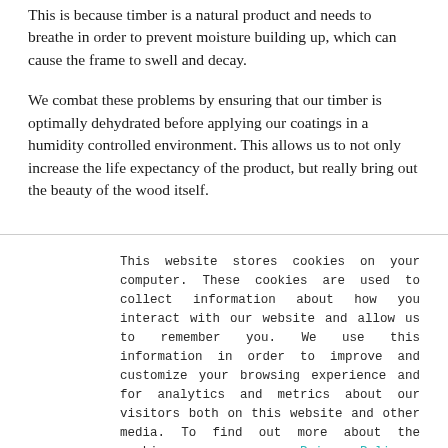This is because timber is a natural product and needs to breathe in order to prevent moisture building up, which can cause the frame to swell and decay.
We combat these problems by ensuring that our timber is optimally dehydrated before applying our coatings in a humidity controlled environment. This allows us to not only increase the life expectancy of the product, but really bring out the beauty of the wood itself.
This website stores cookies on your computer. These cookies are used to collect information about how you interact with our website and allow us to remember you. We use this information in order to improve and customize your browsing experience and for analytics and metrics about our visitors both on this website and other media. To find out more about the cookies we use, see our Privacy Policy.